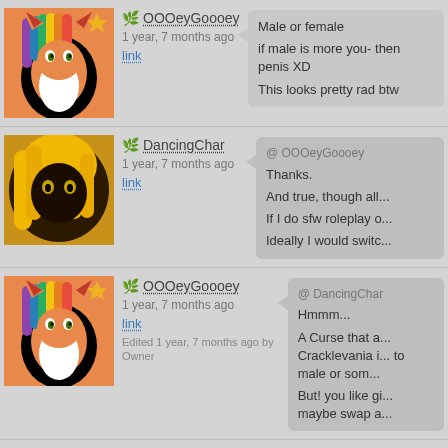[Figure (screenshot): Forum/comment thread with user avatars, usernames, timestamps, and speech bubble messages. Users OOOeyGoooey and DancingChar are conversing about a character's gender.]
OOOeyGoooey - 1 year, 7 months ago - link
Male or female
if male is more you- then penis XD
This looks pretty rad btw
DancingChar - 1 year, 7 months ago - link
@ OOOeyGoooey
Thanks.
And true, though all...
If I do sfw roleplay o...
Ideally I would switc...
OOOeyGoooey - 1 year, 7 months ago - link - Edited 1 year, 7 months ago by Owner
@ DancingChar
Hmmm...
A Curse that a... Cracklevania i... to male or som...
But! you like gi... maybe swap a...
DancingChar - @ OOOeyG...